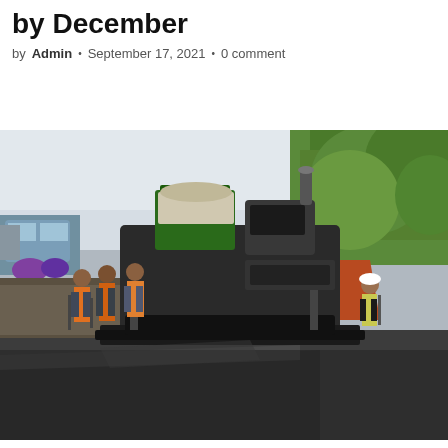by December
by Admin • September 17, 2021 • 0 comment
[Figure (photo): Road construction scene showing workers in orange high-visibility vests operating a large asphalt paving machine on a newly paved road. Dense green vegetation visible on the right side, red laterite soil on the roadside, vehicles and people in the background on the left.]